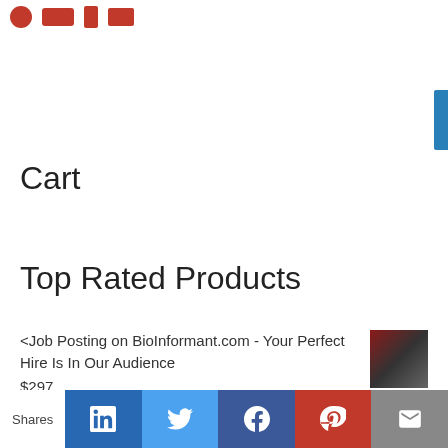Social share icons (partial view at top)
Cart
Top Rated Products
<Job Posting on BioInformant.com - Your Perfect Hire Is In Our Audience $297
<Cord Blood Banking Survey of U.S. Parents [2017]
Shares | LinkedIn | Twitter | Facebook | Pinterest | Email